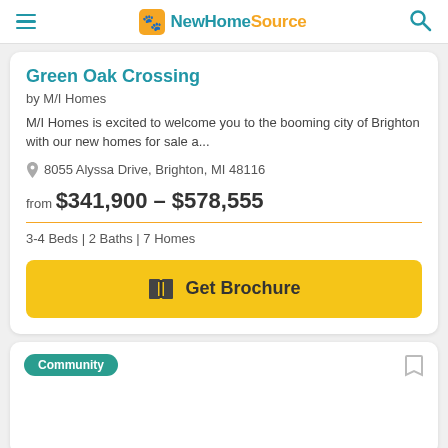NewHomeSource
Green Oak Crossing
by M/I Homes
M/I Homes is excited to welcome you to the booming city of Brighton with our new homes for sale a...
8055 Alyssa Drive, Brighton, MI 48116
from $341,900 - $578,555
3-4 Beds | 2 Baths | 7 Homes
Get Brochure
Community